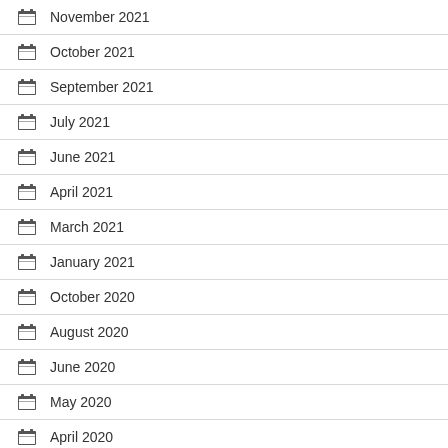November 2021
October 2021
September 2021
July 2021
June 2021
April 2021
March 2021
January 2021
October 2020
August 2020
June 2020
May 2020
April 2020